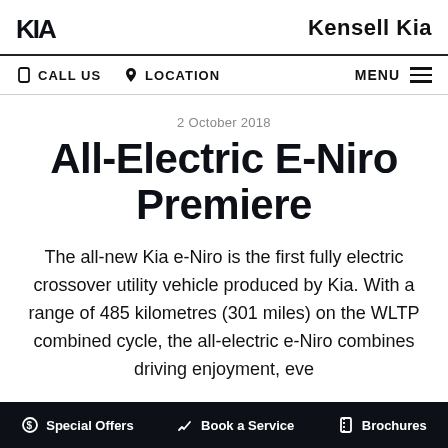Kia logo | Kensell Kia
CALL US | LOCATION | MENU
2 October 2018
All-Electric E-Niro Premiere
The all-new Kia e-Niro is the first fully electric crossover utility vehicle produced by Kia. With a range of 485 kilometres (301 miles) on the WLTP combined cycle, the all-electric e-Niro combines driving enjoyment, eve...
Special Offers | Book a Service | Brochures